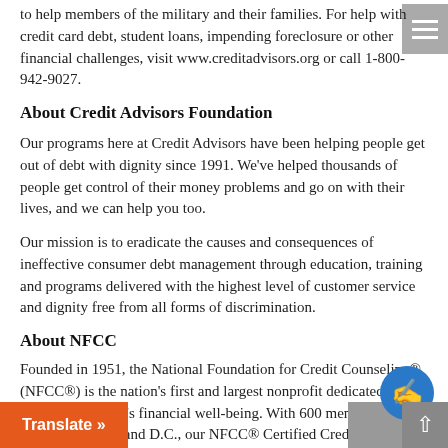to help members of the military and their families. For help with credit card debt, student loans, impending foreclosure or other financial challenges, visit www.creditadvisors.org or call 1-800-942-9027.
About Credit Advisors Foundation
Our programs here at Credit Advisors have been helping people get out of debt with dignity since 1991. We've helped thousands of people get control of their money problems and go on with their lives, and we can help you too.
Our mission is to eradicate the causes and consequences of ineffective consumer debt management through education, training and programs delivered with the highest level of customer service and dignity free from all forms of discrimination.
About NFCC
Founded in 1951, the National Foundation for Credit Counseling® (NFCC®) is the nation's first and largest nonprofit dedicated to improving people's financial well-being. With 600 member offices serving 50 states and D.C., our NFCC® Certified Credit